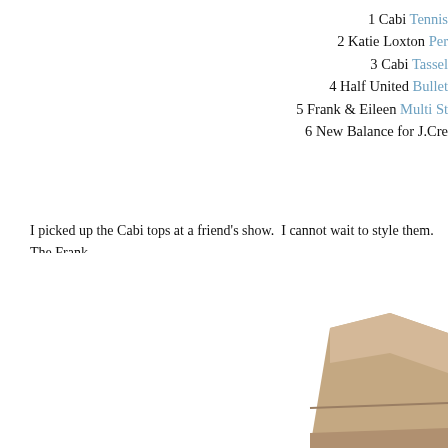1 Cabi Tennis
2 Katie Loxton Per
3 Cabi Tassel
4 Half United Bullet
5 Frank & Eileen Multi St
6 New Balance for J.Cre
I picked up the Cabi tops at a friend's show.  I cannot wait to style them.  The Frank linked to it on the Frank & Eileen website.  I really love their button downs!  The k my favorite local stores, Bluetique.  The clutch is so reasonable and is great alone ( discovered through Bluetique.  Each purchase provides seven meals for children in
[Figure (photo): Bottom portion of page showing a mascara wand/brush on the left side and what appears to be a cosmetic compact or palette with a rose gold/taupe lid on the right side.]